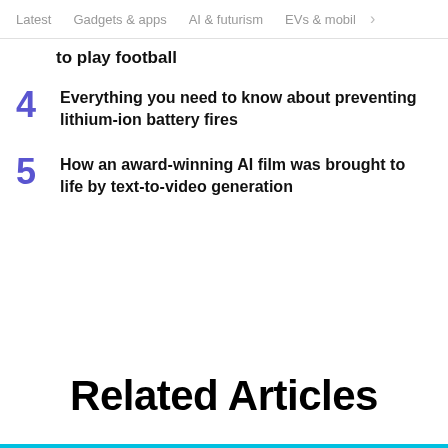Latest   Gadgets & apps   AI & futurism   EVs & mobil  >
to play football
4  Everything you need to know about preventing lithium-ion battery fires
5  How an award-winning AI film was brought to life by text-to-video generation
Related Articles